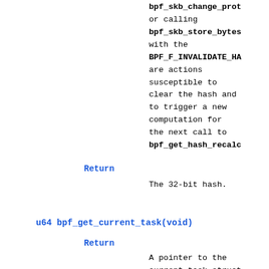bpf_skb_change_prot or calling bpf_skb_store_bytes with the BPF_F_INVALIDATE_HA are actions susceptible to clear the hash and to trigger a new computation for the next call to bpf_get_hash_recalc
Return
The 32-bit hash.
u64 bpf_get_current_task(void)
Return
A pointer to the current task struct.